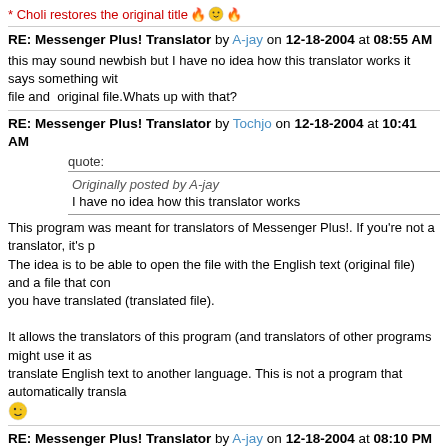* Choli restores the original title 🔥😊🔥
RE: Messenger Plus! Translator by A-jay on 12-18-2004 at 08:55 AM
this may sound newbish but I have no idea how this translator works it says something with file and  original file.Whats up with that?
RE: Messenger Plus! Translator by Tochjo on 12-18-2004 at 10:41 AM
quote:
Originally posted by A-jay
I have no idea how this translator works
This program was meant for translators of Messenger Plus!. If you're not a translator, it's p... The idea is to be able to open the file with the English text (original file) and a file that cont... you have translated (translated file).

It allows the translators of this program (and translators of other programs might use it as ... translate English text to another language. This is not a program that automatically transla...
RE: Messenger Plus! Translator by A-jay on 12-18-2004 at 08:10 PM
Oh I see my bad
RE: Messenger Plus! Translator by spastje on 02-09-2005 at 11:27 PM
could you give me the source sow I can make an english - dutch, dutch - english version?
RE: Messenger Plus! Translator by Tochjo on 02-10-2005 at 10:06 AM
quote:
Originally posted by spastje